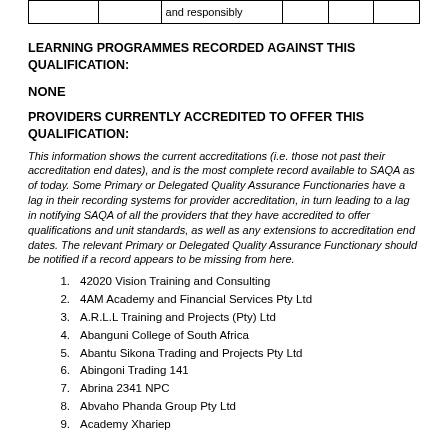|  |  | and responsibly |  |  |  |
| --- | --- | --- | --- | --- | --- |
|  |
LEARNING PROGRAMMES RECORDED AGAINST THIS QUALIFICATION:
NONE
PROVIDERS CURRENTLY ACCREDITED TO OFFER THIS QUALIFICATION:
This information shows the current accreditations (i.e. those not past their accreditation end dates), and is the most complete record available to SAQA as of today. Some Primary or Delegated Quality Assurance Functionaries have a lag in their recording systems for provider accreditation, in turn leading to a lag in notifying SAQA of all the providers that they have accredited to offer qualifications and unit standards, as well as any extensions to accreditation end dates. The relevant Primary or Delegated Quality Assurance Functionary should be notified if a record appears to be missing from here.
42020 Vision Training and Consulting
4AM Academy and Financial Services Pty Ltd
A.R.L.L Training and Projects (Pty) Ltd
Abanguni College of South Africa
Abantu Sikona Trading and Projects Pty Ltd
Abingoni Trading 141
Abrina 2341 NPC
Abvaho Phanda Group Pty Ltd
Academy Xhariep